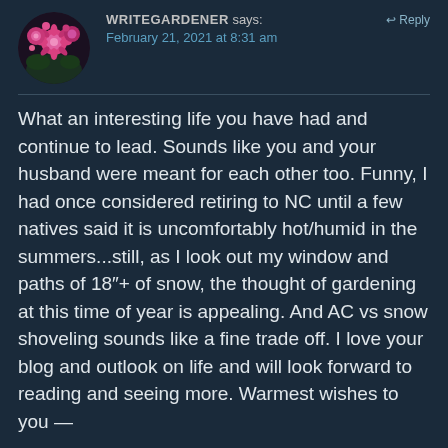[Figure (photo): Circular avatar photo of pink flowers (chrysanthemums or similar) against a dark background]
WRITEGARDENER says: ↩ Reply
February 21, 2021 at 8:31 am
What an interesting life you have had and continue to lead. Sounds like you and your husband were meant for each other too. Funny, I had once considered retiring to NC until a few natives said it is uncomfortably hot/humid in the summers...still, as I look out my window and paths of 18"+ of snow, the thought of gardening at this time of year is appealing. And AC vs snow shoveling sounds like a fine trade off. I love your blog and outlook on life and will look forward to reading and seeing more. Warmest wishes to you —